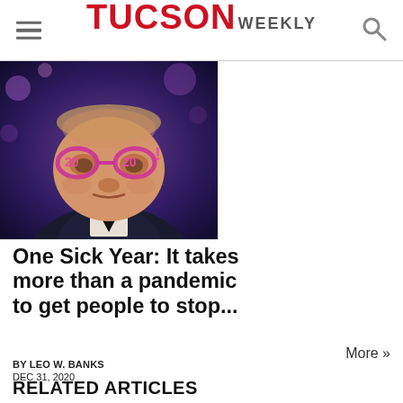TUCSON WEEKLY
[Figure (photo): Person wearing glittery '2020' novelty glasses, photographed against a purple/blue bokeh background]
One Sick Year: It takes more than a pandemic to get people to stop...
BY LEO W. BANKS
DEC 31, 2020
More »
RELATED ARTICLES